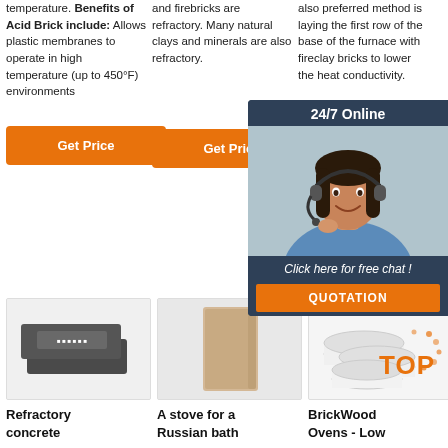temperature. Benefits of Acid Brick include: Allows plastic membranes to operate in high temperature (up to 450°F) environments
[Figure (other): Orange 'Get Price' button in column 1]
and firebricks are refractory. Many natural clays and minerals are also refractory.
[Figure (other): Orange 'Get Price' button in column 2]
also preferred method is laying the first row of the base of the furnace with fireclay bricks to lower the heat conductivity.
[Figure (other): Partially visible orange 'Get' button in column 3]
[Figure (other): 24/7 online chat widget overlay with woman wearing headset, 'Click here for free chat!' text, and QUOTATION button]
[Figure (photo): Photo of dark grey/black refractory concrete blocks stacked]
[Figure (photo): Photo of a tan/beige firebrick standing upright]
[Figure (photo): Photo of white cylindrical BrickWood oven components]
Refractory concrete
A stove for a Russian bath
BrickWood Ovens - Low